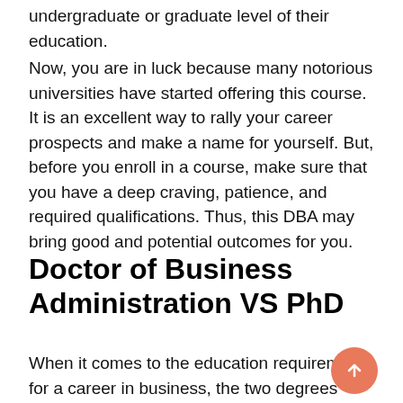undergraduate or graduate level of their education.
Now, you are in luck because many notorious universities have started offering this course. It is an excellent way to rally your career prospects and make a name for yourself. But, before you enroll in a course, make sure that you have a deep craving, patience, and required qualifications. Thus, this DBA may bring good and potential outcomes for you.
Doctor of Business Administration VS PhD
When it comes to the education requirements for a career in business, the two degrees come on the list mainly. For